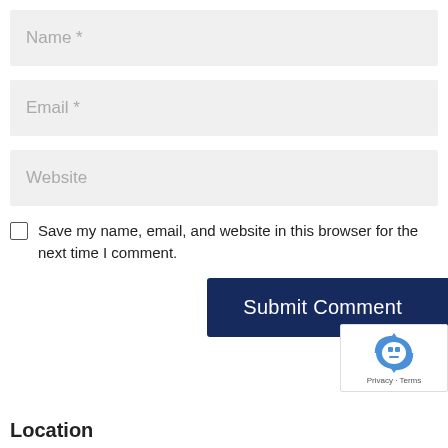Name *
Email *
Website
Save my name, email, and website in this browser for the next time I comment.
Submit Comment
[Figure (logo): Google reCAPTCHA badge with robot icon and Privacy - Terms text]
Location